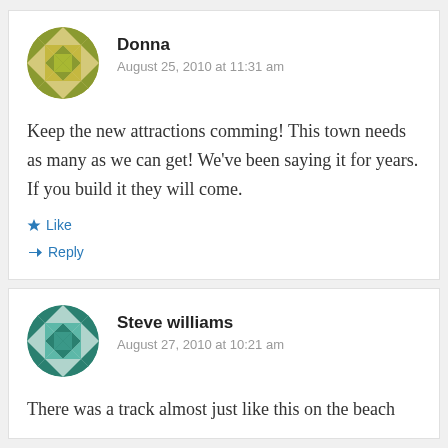[Figure (illustration): Circular avatar image with green geometric quilt-like pattern for user Donna]
Donna
August 25, 2010 at 11:31 am
Keep the new attractions comming! This town needs as many as we can get! We’ve been saying it for years. If you build it they will come.
Like
Reply
[Figure (illustration): Circular avatar image with teal/green geometric quilt-like pattern for user Steve williams]
Steve williams
August 27, 2010 at 10:21 am
There was a track almost just like this on the beach